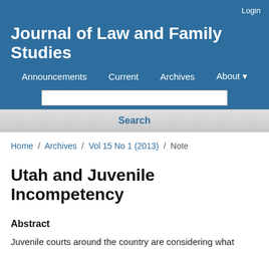Login
Journal of Law and Family Studies
Announcements  Current  Archives  About
Search
Home / Archives / Vol 15 No 1 (2013) / Note
Utah and Juvenile Incompetency
Abstract
Juvenile courts around the country are considering what